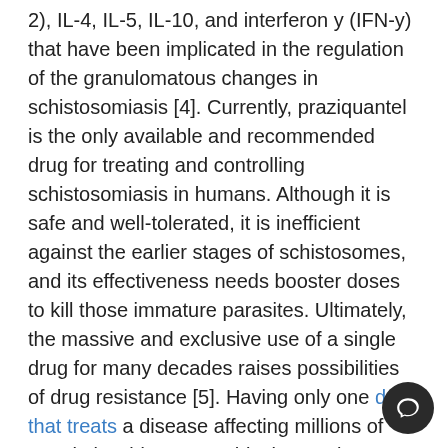2), IL-4, IL-5, IL-10, and interferon y (IFN-y) that have been implicated in the regulation of the granulomatous changes in schistosomiasis [4]. Currently, praziquantel is the only available and recommended drug for treating and controlling schistosomiasis in humans. Although it is safe and well-tolerated, it is inefficient against the earlier stages of schistosomes, and its effectiveness needs booster doses to kill those immature parasites. Ultimately, the massive and exclusive use of a single drug for many decades raises possibilities of drug resistance [5]. Having only one drug that treats a disease affecting millions of people in wide geographical areas is challenging. Therefore, there is a growing need to develop new effective and safe antischistosomal drugs. For thousands of years, various mushrooms have been used traditionally in folk medicine to cure different health problems. Increasing interest arises for using these alternative therapies instead of the current drugs